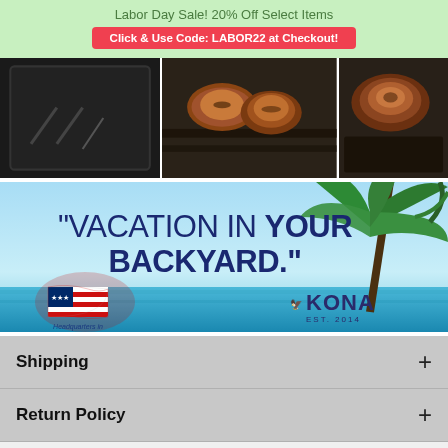Labor Day Sale! 20% Off Select Items
Click & Use Code: LABOR22 at Checkout!
[Figure (photo): Three product photos: a dark grill pan/rack tray, cooked chicken pieces on a grill, and grilled meat on a dark tray]
[Figure (illustration): Vacation in Your Backyard promotional banner with beach/tropical background, palm trees, USA headquarters flag badge, and Kona Est. 2014 logo]
Shipping
Return Policy